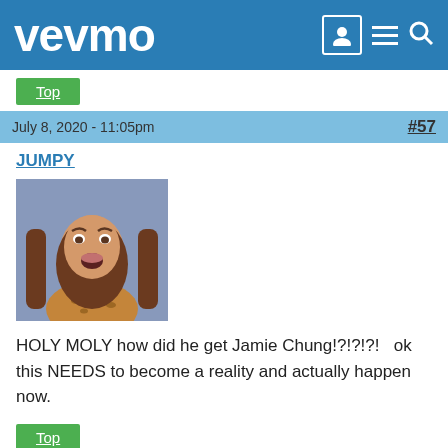vevmo
Top
July 8, 2020 - 11:05pm   #57
JUMPY
[Figure (photo): Reaction image of a young woman with long brown hair and mouth open in shock/surprise expression, wearing a leopard-print top, on a blue/purple background.]
HOLY MOLY how did he get Jamie Chung!?!?!?!   ok this NEEDS to become a reality and actually happen now.
Top
July 8, 2020 - 11:07pm   #58
SeauxMtv